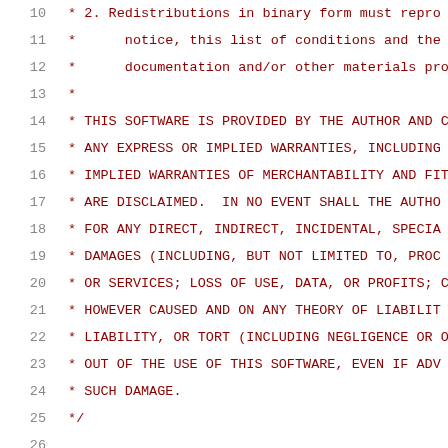Source code file showing BSD license comment block and C include directives, lines 10-31
10:  * 2. Redistributions in binary form must repro
11:  *      notice, this list of conditions and the f
12:  *      documentation and/or other materials prov
13:  *
14:  * THIS SOFTWARE IS PROVIDED BY THE AUTHOR AND C
15:  * ANY EXPRESS OR IMPLIED WARRANTIES, INCLUDING
16:  * IMPLIED WARRANTIES OF MERCHANTABILITY AND FIT
17:  * ARE DISCLAIMED.  IN NO EVENT SHALL THE AUTHO
18:  * FOR ANY DIRECT, INDIRECT, INCIDENTAL, SPECIA
19:  * DAMAGES (INCLUDING, BUT NOT LIMITED TO, PROC
20:  * OR SERVICES; LOSS OF USE, DATA, OR PROFITS; C
21:  * HOWEVER CAUSED AND ON ANY THEORY OF LIABILIT
22:  * LIABILITY, OR TORT (INCLUDING NEGLIGENCE OR O
23:  * OUT OF THE USE OF THIS SOFTWARE, EVEN IF ADV
24:  * SUCH DAMAGE.
25:  */
26:
27: #include <limits.h>
28:
29: #include <assert.h>
30: #include "gelf.h"
31: